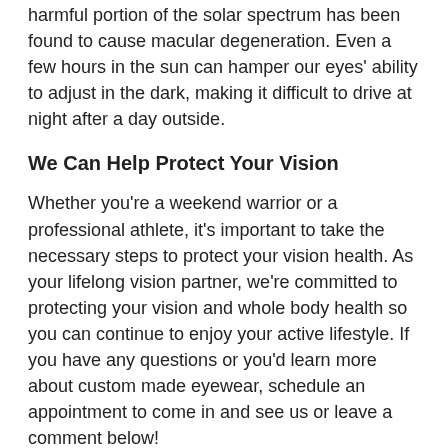harmful portion of the solar spectrum has been found to cause macular degeneration. Even a few hours in the sun can hamper our eyes' ability to adjust in the dark, making it difficult to drive at night after a day outside.
We Can Help Protect Your Vision
Whether you're a weekend warrior or a professional athlete, it's important to take the necessary steps to protect your vision health. As your lifelong vision partner, we're committed to protecting your vision and whole body health so you can continue to enjoy your active lifestyle. If you have any questions or you'd learn more about custom made eyewear, schedule an appointment to come in and see us or leave a comment below!
Top image by Flickr user Laurel F used under Creative Commons Attribution-Sharealike 4.0 license. Image cropped and modified from original.